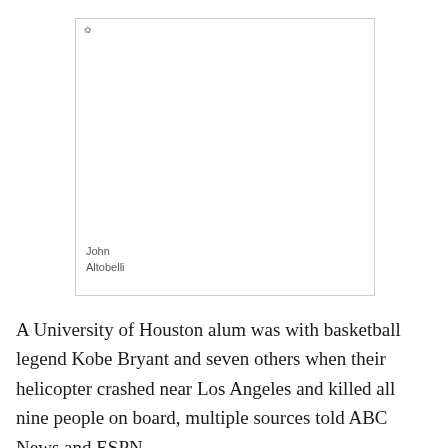[Figure (photo): Placeholder photo box with small icon in top-left corner and caption 'John Altobelli' at the bottom-left]
John Altobelli
A University of Houston alum was with basketball legend Kobe Bryant and seven others when their helicopter crashed near Los Angeles and killed all nine people on board, multiple sources told ABC News and ESPN.